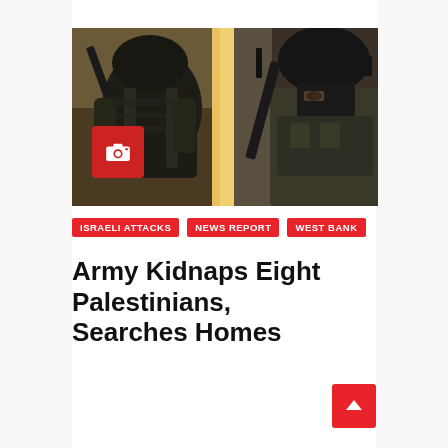[Figure (photo): Two Israeli military soldiers in full tactical gear and helmets. Left soldier shown from back entering a doorway with rifle raised. Right soldier facing camera wearing black balaclava and tactical vest, holding rifle. A red camera icon badge is overlaid in the bottom-left of the image.]
ISRAELI ATTACKS   NEWS REPORT   WEST BANK
Army Kidnaps Eight Palestinians, Searches Homes